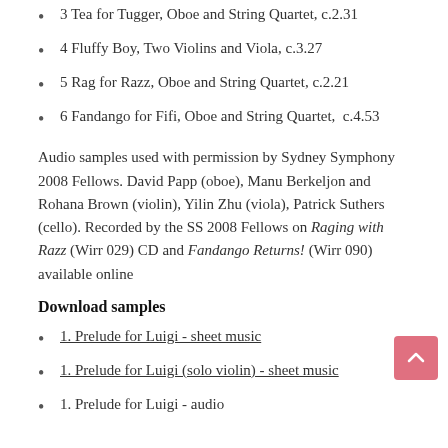3 Tea for Tugger, Oboe and String Quartet, c.2.31
4 Fluffy Boy, Two Violins and Viola, c.3.27
5 Rag for Razz, Oboe and String Quartet, c.2.21
6 Fandango for Fifi, Oboe and String Quartet,  c.4.53
Audio samples used with permission by Sydney Symphony 2008 Fellows. David Papp (oboe), Manu Berkeljon and Rohana Brown (violin), Yilin Zhu (viola), Patrick Suthers (cello). Recorded by the SS 2008 Fellows on Raging with Razz (Wirr 029) CD and Fandango Returns! (Wirr 090) available online
Download samples
1. Prelude for Luigi - sheet music
1. Prelude for Luigi (solo violin) - sheet music
1. Prelude for Luigi - audio